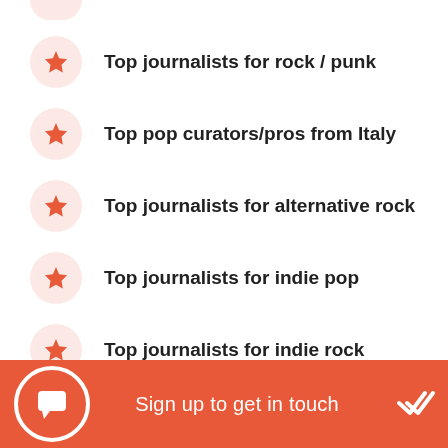Top journalists for rock / punk
Top pop curators/pros from Italy
Top journalists for alternative rock
Top journalists for indie pop
Top journalists for indie rock
Sign up to get in touch